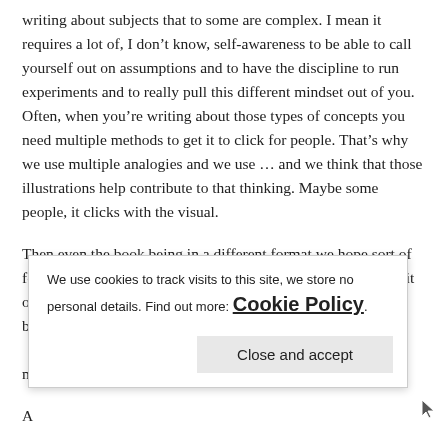writing about subjects that to some are complex. I mean it requires a lot of, I don't know, self-awareness to be able to call yourself out on assumptions and to have the discipline to run experiments and to really pull this different mindset out of you. Often, when you're writing about those types of concepts you need multiple methods to get it to click for people. That's why we use multiple analogies and we use … and we think that those illustrations help contribute to that thinking. Maybe some people, it clicks with the visual.

Then even the book being in a different format we hope sort of forces people to think a little bit differently. They're cracking it open with the mindset that they're not opening an airport business book, that th m
A

and that's what I loved about it. The format is like a children's
We use cookies to track visits to this site, we store no personal details. Find out more: Cookie Policy
Close and accept